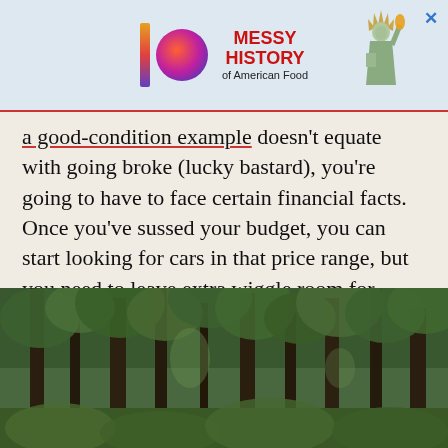[Figure (other): Advertisement banner for 'Messy History of American Food' with colorful logo, Statue of Liberty graphic, and close button]
a good-condition example doesn't equate with going broke (lucky bastard), you're going to have to face certain financial facts. Once you've sussed your budget, you can start looking for cars in that price range, but you need to leave extra wiggle room for needed repairs and anything that goes wrong -- and on any car of a certain age, something will eventually fail.
[Figure (photo): Forest scene with tall trees and green foliage]